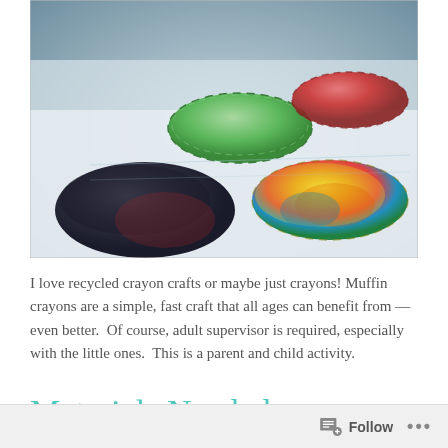[Figure (photo): Close-up photo of colorful recycled muffin crayons on a white surface. One green muffin-shaped crayon in the center-left, a red/dark one at upper right, a large dark crayon in the lower-left, and a multicolored yellow/orange/blue crayon on the right.]
I love recycled crayon crafts or maybe just crayons! Muffin crayons are a simple, fast craft that all ages can benefit from — even better.  Of course, adult supervisor is required, especially with the little ones.  This is a parent and child activity.
Materials Needed
Follow ...